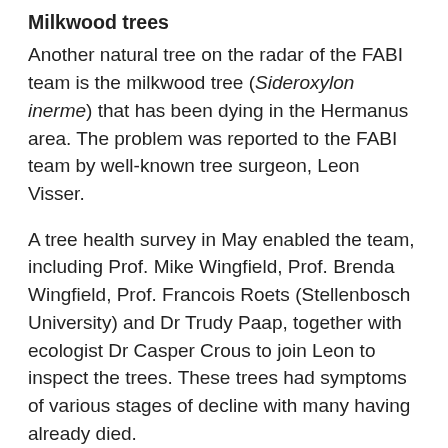Milkwood trees
Another natural tree on the radar of the FABI team is the milkwood tree (Sideroxylon inerme) that has been dying in the Hermanus area. The problem was reported to the FABI team by well-known tree surgeon, Leon Visser.
A tree health survey in May enabled the team, including Prof. Mike Wingfield, Prof. Brenda Wingfield, Prof. Francois Roets (Stellenbosch University) and Dr Trudy Paap, together with ecologist Dr Casper Crous to join Leon to inspect the trees. These trees had symptoms of various stages of decline with many having already died.
Roots and above ground parts of the trees were inspected and samples were collected for further study. Although opportunistic pathogens may be involved in the problem, the group was generally of the opinion that an environmental factor is likely to be the initial cause. Mike Wingfield says the team suspects water